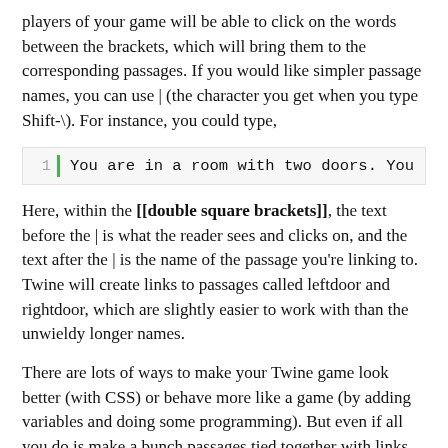players of your game will be able to click on the words between the brackets, which will bring them to the corresponding passages. If you would like simpler passage names, you can use | (the character you get when you type Shift-\). For instance, you could type,
1  |  You are in a room with two doors. You
Here, within the [[double square brackets]], the text before the | is what the reader sees and clicks on, and the text after the | is the name of the passage you're linking to. Twine will create links to passages called leftdoor and rightdoor, which are slightly easier to work with than the unwieldy longer names.
There are lots of ways to make your Twine game look better (with CSS) or behave more like a game (by adding variables and doing some programming). But even if all you do is make a bunch passages tied together with links,